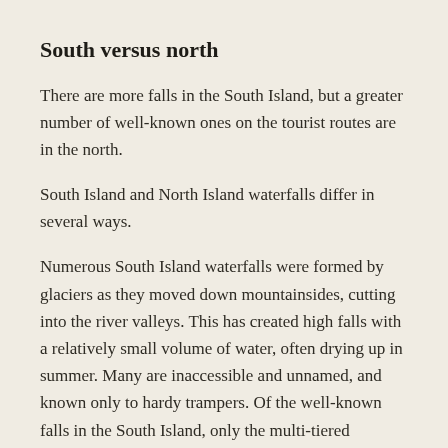South versus north
There are more falls in the South Island, but a greater number of well-known ones on the tourist routes are in the north.
South Island and North Island waterfalls differ in several ways.
Numerous South Island waterfalls were formed by glaciers as they moved down mountainsides, cutting into the river valleys. This has created high falls with a relatively small volume of water, often drying up in summer. Many are inaccessible and unnamed, and known only to hardy trampers. Of the well-known falls in the South Island, only the multi-tiered Purakaunui Falls are away from the alpine region.